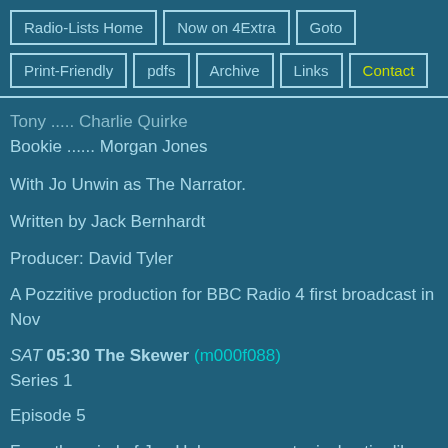Radio-Lists Home | Now on 4Extra | Goto | Print-Friendly | pdfs | Archive | Links | Contact
Tony ..... Charlie Quirke
Bookie ...... Morgan Jones
With Jo Unwin as The Narrator.
Written by Jack Bernhardt
Producer: David Tyler
A Pozzitive production for BBC Radio 4 first broadcast in Nov
SAT 05:30 The Skewer (m000f088)
Series 1
Episode 5
From the mind of Jon Holmes comes topical satire like you've heard it before.